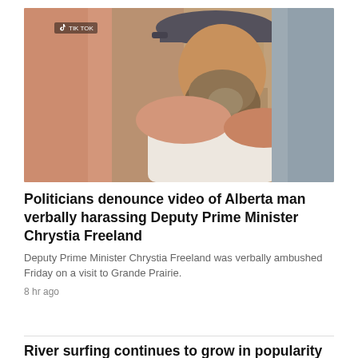[Figure (photo): A bearded man wearing a baseball cap and white tank top, photographed from the side in an indoor setting. TikTok watermark visible in top-left corner.]
Politicians denounce video of Alberta man verbally harassing Deputy Prime Minister Chrystia Freeland
Deputy Prime Minister Chrystia Freeland was verbally ambushed Friday on a visit to Grande Prairie.
8 hr ago
River surfing continues to grow in popularity in